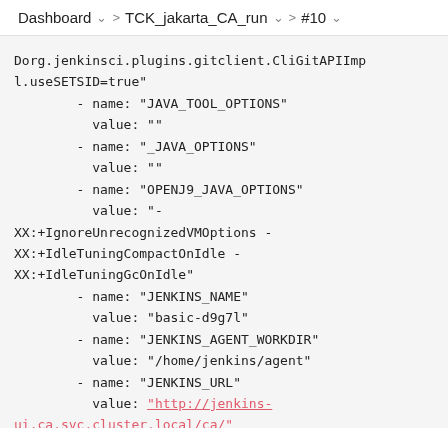Dashboard  >  TCK_jakarta_CA_run  >  #10
Dorg.jenkinsci.plugins.gitclient.CliGitAPIImpl.useSETSID=true"
        - name: "JAVA_TOOL_OPTIONS"
          value: ""
        - name: "_JAVA_OPTIONS"
          value: ""
        - name: "OPENJ9_JAVA_OPTIONS"
          value: "-XX:+IgnoreUnrecognizedVMOptions -XX:+IdleTuningCompactOnIdle -XX:+IdleTuningGcOnIdle"
        - name: "JENKINS_NAME"
          value: "basic-d9g7l"
        - name: "JENKINS_AGENT_WORKDIR"
          value: "/home/jenkins/agent"
        - name: "JENKINS_URL"
          value: "http://jenkins-ui.ca.svc.cluster.local/ca/"